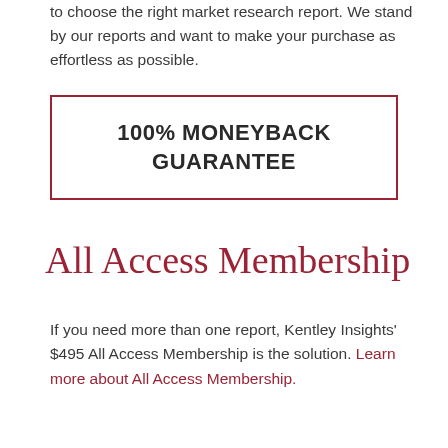to choose the right market research report. We stand by our reports and want to make your purchase as effortless as possible.
100% MONEYBACK GUARANTEE
All Access Membership
If you need more than one report, Kentley Insights' $495 All Access Membership is the solution. Learn more about All Access Membership.